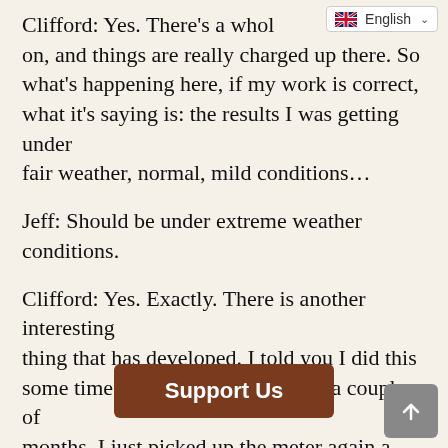Clifford: Yes. There's a whole [something] going on, and things are really charged up there. So what's happening here, if my work is correct, what it's saying is: the results I was getting under fair weather, normal, mild conditions…
Jeff: Should be under extreme weather conditions.
Clifford: Yes. Exactly. There is another interesting thing that has developed. I told you I did this some time ago. It's been sitting for a couple of months. I just picked up the meter again a week or so ago, and started to look at it again. And what's happening right now is: the thing is playing off the sc[ale] [at high winds], this meter
[Figure (screenshot): Language selector dropdown overlay showing English flag and 'English' text with dropdown chevron]
[Figure (screenshot): Support Us button overlay (brown/dark red button with white text)]
[Figure (screenshot): Scroll to top button (grey square with white upward arrow) in bottom right corner]